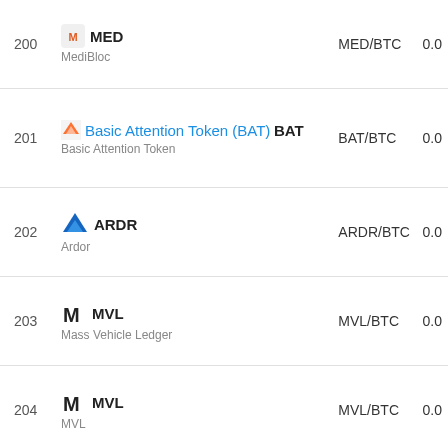| # | Name | Pair | Price |
| --- | --- | --- | --- |
| 200 | MED / MediBloc | MED/BTC | 0.0 |
| 201 | BAT / Basic Attention Token | BAT/BTC | 0.0 |
| 202 | ARDR / Ardor | ARDR/BTC | 0.0 |
| 203 | MVL / Mass Vehicle Ledger | MVL/BTC | 0.0 |
| 204 | MVL / MVL | MVL/BTC | 0.0 |
| 205 | KMD / Komodo | KMD/BTC | 0.0 |
| 206 | BCH / Bitcoin Cash | BCH/USDT | 69 |